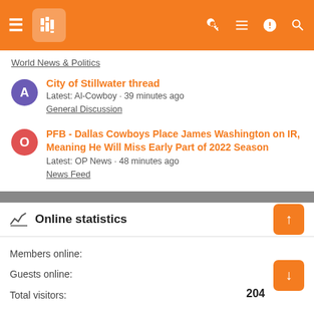Navigation bar with menu, logo, and icons
World News & Politics
City of Stillwater thread
Latest: Al-Cowboy · 39 minutes ago
General Discussion
PFB - Dallas Cowboys Place James Washington on IR, Meaning He Will Miss Early Part of 2022 Season
Latest: OP News · 48 minutes ago
News Feed
Online statistics
Members online:
Guests online:
Total visitors: 204
Totals may include hidden visitors.